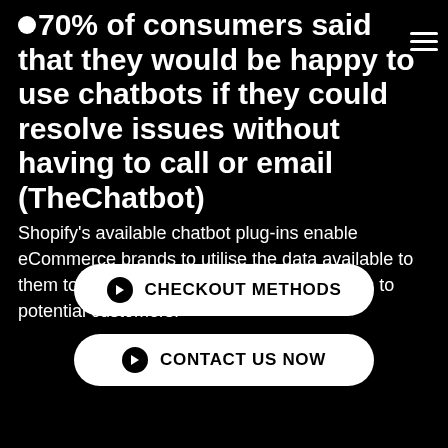70% of consumers said that they would be happy to use chatbots if they could resolve issues without having to call or email (TheChatbot)
Shopify's available chatbot plug-ins enable eCommerce brands to utilise the data available to them to deliver personalised, fast resolutions to potential customers.
CHECKOUT METHODS
CONTACT US NOW